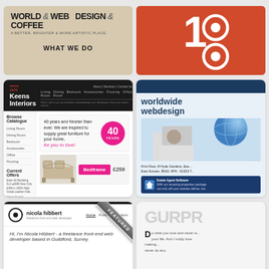[Figure (screenshot): World & Web Design & Coffee website screenshot with tan/beige background, bold heading text and 'WHAT WE DO' section]
[Figure (screenshot): Red/orange background with number 10 design - large 1 and two circles with 0 pattern]
[Figure (screenshot): Keens Interiors furniture website screenshot with dark header, sidebar navigation, '40 Years' banner, and bedframe product at £259]
[Figure (screenshot): Worldwide webdesign website screenshot with dark blue header, globe graphic, people photo, address details and estate agent software banner]
[Figure (screenshot): Nicola Hibbert freelance front end web developer website with 'FEATURED' ribbon diagonal banner]
[Figure (screenshot): GURPR design website with large light grey text and motivational quote about doing what you love]